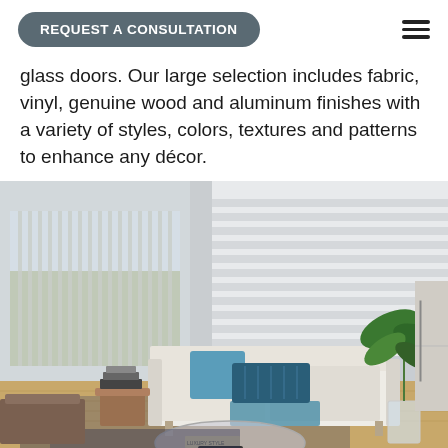REQUEST A CONSULTATION
glass doors. Our large selection includes fabric, vinyl, genuine wood and aluminum finishes with a variety of styles, colors, textures and patterns to enhance any décor.
[Figure (photo): Modern living room interior with vertical fabric blinds on left sliding glass door and horizontal layered blinds on right window. White sofa with teal and dark blue pillows, large tropical plant in glass vase, round coffee table with books and decorative items on hardwood floor.]